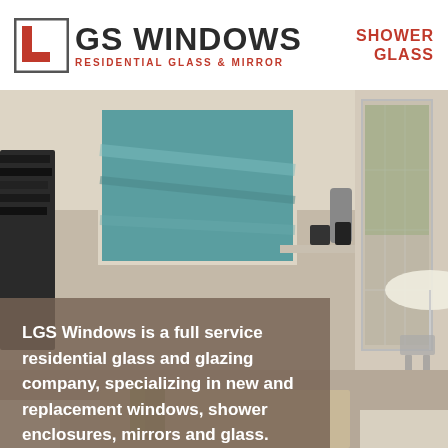[Figure (logo): LGS Windows logo with red L-shaped icon and text 'GS WINDOWS RESIDENTIAL GLASS & MIRROR']
SHOWER GLASS
[Figure (photo): Interior room photo showing a living space with teal artwork, shelving, and glass sliding door opening to an outdoor patio area]
LGS Windows is a full service residential glass and glazing company, specializing in new and replacement windows, shower enclosures, mirrors and glass.